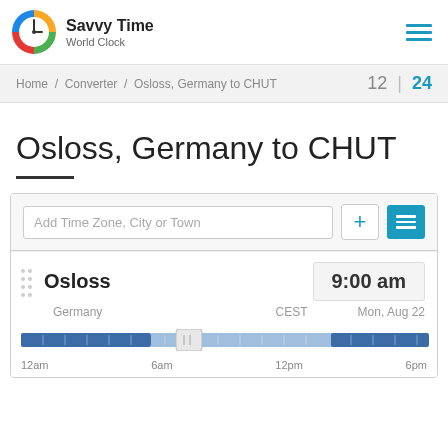Savvy Time World Clock
Home / Converter / Osloss, Germany to CHUT  12 | 24
Osloss, Germany to CHUT
Add Time Zone, City or Town
Osloss  9:00 am
Germany  CEST  Mon, Aug 22
[Figure (other): Time slider bar showing 12am, 6am, 12pm, 6pm with handle positioned at 9am]